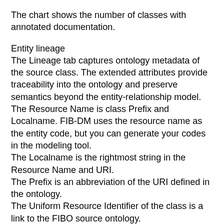The chart shows the number of classes with annotated documentation.
Entity lineage
The Lineage tab captures ontology metadata of the source class. The extended attributes provide traceability into the ontology and preserve semantics beyond the entity-relationship model.
The Resource Name is class Prefix and Localname. FIB-DM uses the resource name as the entity code, but you can generate your codes in the modeling tool.
The Localname is the rightmost string in the Resource Name and URI.
The Prefix is an abbreviation of the URI defined in the ontology.
The Uniform Resource Identifier of the class is a link to the FIBO source ontology.
Restriction and Equivalent class axioms formulate OWL semantics.
Source FIBO pattern (cross-class semantics)